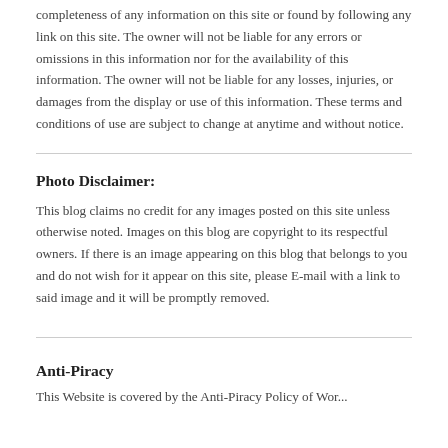completeness of any information on this site or found by following any link on this site. The owner will not be liable for any errors or omissions in this information nor for the availability of this information. The owner will not be liable for any losses, injuries, or damages from the display or use of this information. These terms and conditions of use are subject to change at anytime and without notice.
Photo Disclaimer:
This blog claims no credit for any images posted on this site unless otherwise noted. Images on this blog are copyright to its respectful owners. If there is an image appearing on this blog that belongs to you and do not wish for it appear on this site, please E-mail with a link to said image and it will be promptly removed.
Anti-Piracy
This Website is covered by the Anti-Piracy Policy of Wor...